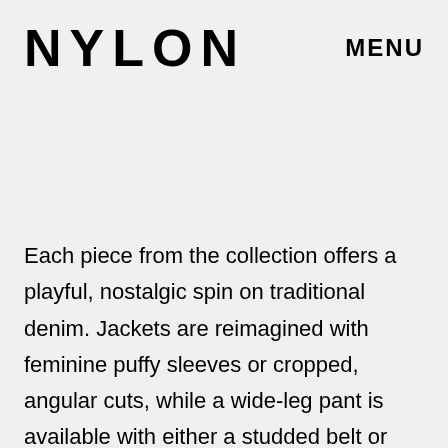NYLON
MENU
Each piece from the collection offers a playful, nostalgic spin on traditional denim. Jackets are reimagined with feminine puffy sleeves or cropped, angular cuts, while a wide-leg pant is available with either a studded belt or attached suspenders for a retro touch. All pieces are made to pair with the graphic tee and polo also available in the collection. For the accompanying editorial, Sevigny becomes an